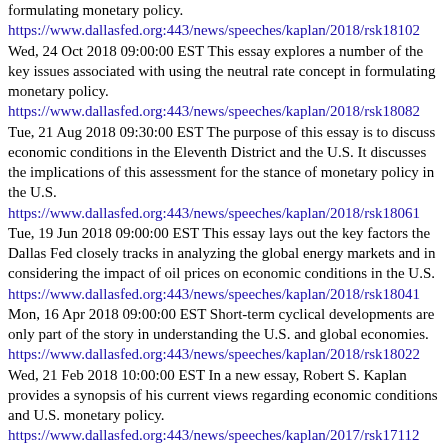formulating monetary policy.
https://www.dallasfed.org:443/news/speeches/kaplan/2018/rsk18102
Wed, 24 Oct 2018 09:00:00 EST This essay explores a number of the key issues associated with using the neutral rate concept in formulating monetary policy.
https://www.dallasfed.org:443/news/speeches/kaplan/2018/rsk18082
Tue, 21 Aug 2018 09:30:00 EST The purpose of this essay is to discuss economic conditions in the Eleventh District and the U.S. It discusses the implications of this assessment for the stance of monetary policy in the U.S.
https://www.dallasfed.org:443/news/speeches/kaplan/2018/rsk18061
Tue, 19 Jun 2018 09:00:00 EST This essay lays out the key factors the Dallas Fed closely tracks in analyzing the global energy markets and in considering the impact of oil prices on economic conditions in the U.S.
https://www.dallasfed.org:443/news/speeches/kaplan/2018/rsk18041
Mon, 16 Apr 2018 09:00:00 EST Short-term cyclical developments are only part of the story in understanding the U.S. and global economies.
https://www.dallasfed.org:443/news/speeches/kaplan/2018/rsk18022
Wed, 21 Feb 2018 10:00:00 EST In a new essay, Robert S. Kaplan provides a synopsis of his current views regarding economic conditions and U.S. monetary policy.
https://www.dallasfed.org:443/news/speeches/kaplan/2017/rsk17112
Mon, 27 Nov 2017 11:30:00 EST In a new essay, Robert S. Kaplan provides a synopsis of his current views regarding economic conditions.